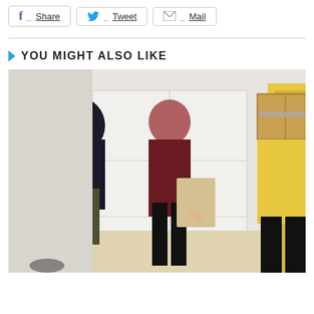[Figure (other): Social sharing bar with Facebook Share, Twitter Tweet, and Mail buttons]
YOU MIGHT ALSO LIKE
[Figure (photo): Photo of three people standing indoors near white cabinet/lockers. Person on left wearing dark jacket and camouflage pants holding a white cane, person in middle wearing dark maroon top and black pants holding papers, person on right wearing yellow jacket and holding a cardboard box in front of their face.]